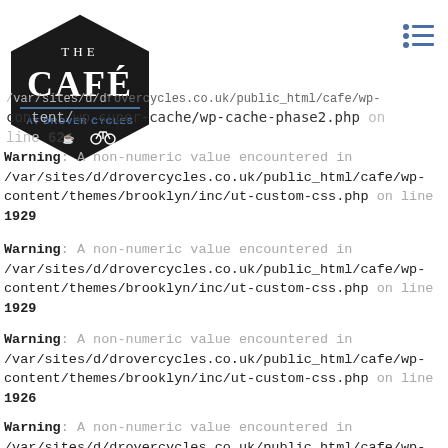[Figure (logo): The Café at Drover Cycles hexagon logo in black with white text]
Warning: A non-numeric value encountered in /var/sites/d/drovercycles.co.uk/public_html/cafe/wp-content/wp-super-cache/wp-cache-phase2.php on line 62
Warning: A non-numeric value encountered in /var/sites/d/drovercycles.co.uk/public_html/cafe/wp-content/themes/brooklyn/inc/ut-custom-css.php on line 1929
Warning: A non-numeric value encountered in /var/sites/d/drovercycles.co.uk/public_html/cafe/wp-content/themes/brooklyn/inc/ut-custom-css.php on line 1929
Warning: A non-numeric value encountered in /var/sites/d/drovercycles.co.uk/public_html/cafe/wp-content/themes/brooklyn/inc/ut-custom-css.php on line 1926
Warning: A non-numeric value encountered in /var/sites/d/drovercycles.co.uk/public_html/cafe/wp-